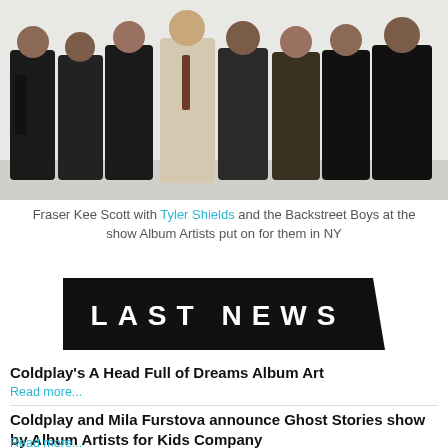[Figure (photo): Group photo of Fraser Kee Scott with Tyler Shields and the Backstreet Boys at a show]
Fraser Kee Scott with Tyler Shields and the Backstreet Boys at the show Album Artists put on for them in NY
[Figure (logo): LAST NEWS banner logo — black background with white bold spaced letters]
Coldplay's A Head Full of Dreams Album Art
Read more...
Coldplay and Mila Furstova announce Ghost Stories show by Album Artists for Kids Company
Read more...